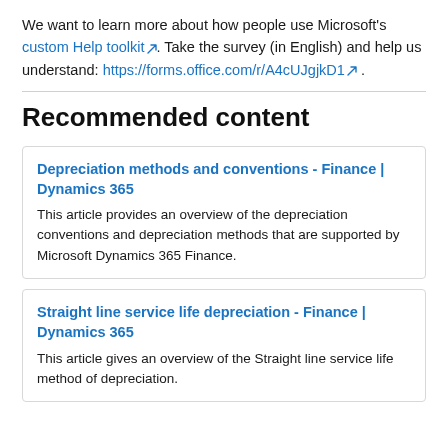We want to learn more about how people use Microsoft's custom Help toolkit. Take the survey (in English) and help us understand: https://forms.office.com/r/A4cUJgjkD1 .
Recommended content
Depreciation methods and conventions - Finance | Dynamics 365
This article provides an overview of the depreciation conventions and depreciation methods that are supported by Microsoft Dynamics 365 Finance.
Straight line service life depreciation - Finance | Dynamics 365
This article gives an overview of the Straight line service life method of depreciation.